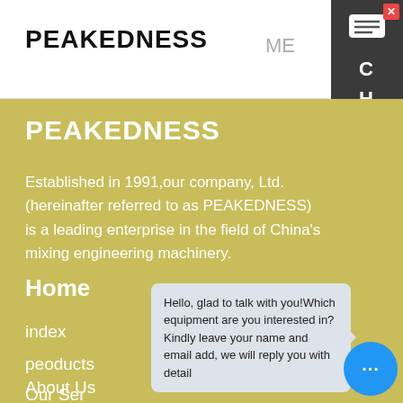PEAKEDNESS
PEAKEDNESS
Established in 1991,our company, Ltd. (hereinafter referred to as PEAKEDNESS) is a leading enterprise in the field of China's mixing engineering machinery.
Home
index
peoducts
Our Ser...
About Us
Hello, glad to talk with you!Which equipment are you interested in?Kindly leave your name and email add, we will reply you with detail